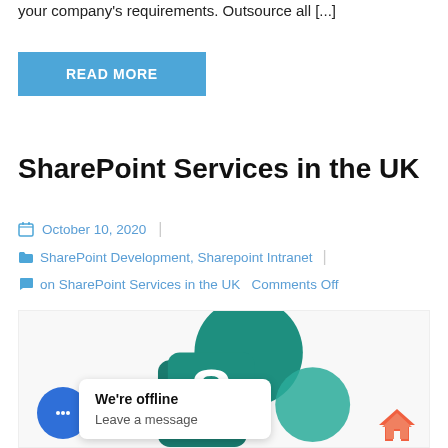your company's requirements. Outsource all [...]
READ MORE
SharePoint Services in the UK
October 10, 2020
SharePoint Development, Sharepoint Intranet
on SharePoint Services in the UK  Comments Off
[Figure (illustration): SharePoint logo illustration with teal cloud and S letter, overlaid with a chat offline popup bubble and a blue chat button circle, and a home icon in bottom right]
We're offline
Leave a message